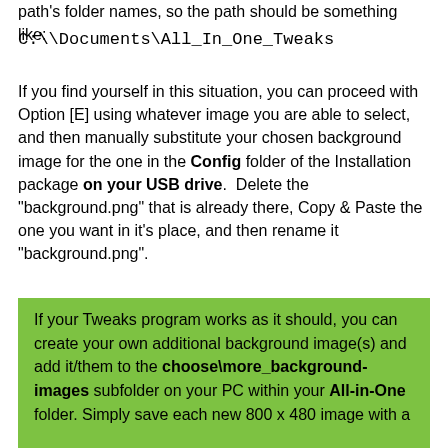path's folder names, so the path should be something like:
C:\\Documents\All_In_One_Tweaks
If you find yourself in this situation, you can proceed with Option [E] using whatever image you are able to select, and then manually substitute your chosen background image for the one in the Config folder of the Installation package on your USB drive.  Delete the "background.png" that is already there, Copy & Paste the one you want in it's place, and then rename it "background.png".
If your Tweaks program works as it should, you can create your own additional background image(s) and add it/them to the choose\more_background-images subfolder on your PC within your All-in-One folder. Simply save each new 800 x 480 image with a